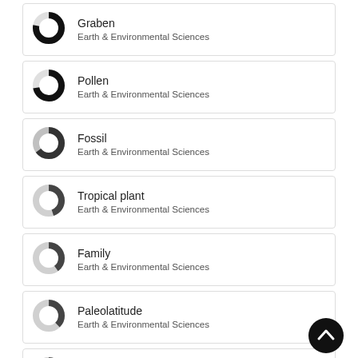Graben — Earth & Environmental Sciences
Pollen — Earth & Environmental Sciences
Fossil — Earth & Environmental Sciences
Tropical plant — Earth & Environmental Sciences
Family — Earth & Environmental Sciences
Paleolatitude — Earth & Environmental Sciences
Paleocene — Earth & Environmental Sciences
[Figure (other): Scroll-to-top button, dark circle with upward chevron]